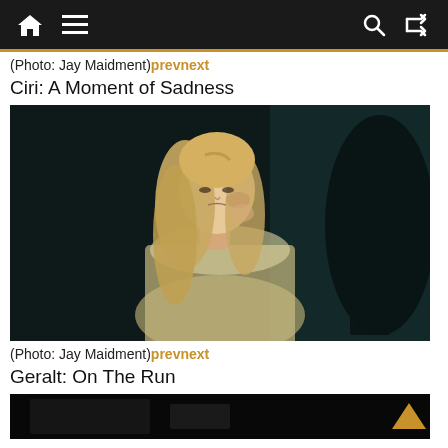Navigation bar with home, menu, search, and shuffle icons
(Photo: Jay Maidment) prevnext
Ciri: A Moment of Sadness
[Figure (photo): A young blonde woman with long wavy hair and a white ornate dress stands in a dimly lit, dark setting, looking down with a sad expression. The background is dark teal/blue tones.]
(Photo: Jay Maidment) prevnext
Geralt: On The Run
[Figure (photo): A dark, dimly lit scene partially visible — bottom portion of another photo.]